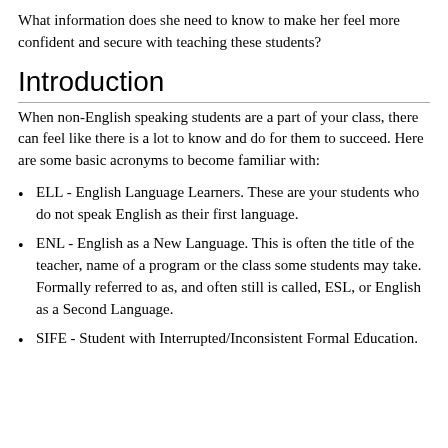What information does she need to know to make her feel more confident and secure with teaching these students?
Introduction
When non-English speaking students are a part of your class, there can feel like there is a lot to know and do for them to succeed. Here are some basic acronyms to become familiar with:
ELL - English Language Learners. These are your students who do not speak English as their first language.
ENL - English as a New Language. This is often the title of the teacher, name of a program or the class some students may take. Formally referred to as, and often still is called, ESL, or English as a Second Language.
SIFE - Student with Interrupted/Inconsistent Formal Education.